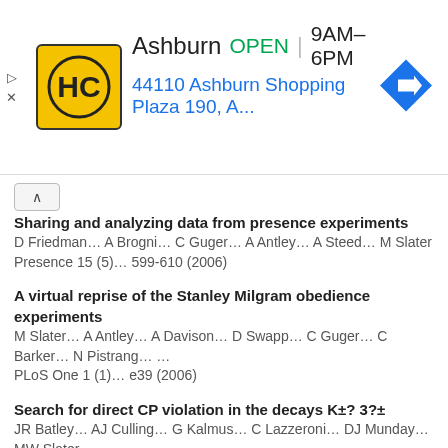[Figure (other): Advertisement banner for Hardware City (HC) store in Ashburn, showing store logo, OPEN status, hours 9AM-6PM, address 44110 Ashburn Shopping Plaza 190, A..., and navigation arrow icon]
Sharing and analyzing data from presence experiments
D Friedman… A Brogni… C Guger… A Antley… A Steed… M Slater
Presence 15 (5)… 599-610 (2006)
A virtual reprise of the Stanley Milgram obedience experiments
M Slater… A Antley… A Davison… D Swapp… C Guger… C Barker… N Pistrang… …
PLoS One 1 (1)… e39 (2006)
Search for direct CP violation in the decays K±? 3?±
JR Batley… AJ Culling… G Kalmus… C Lazzeroni… DJ Munday… MW Slater… …
Physics Letters B 634 (5-6)… 474-482 (2006)
Building expression into virtual characters
V Vinayagamoorthy… M Gillies… A Steed… E Tanguy… X Pan… C Lescos…